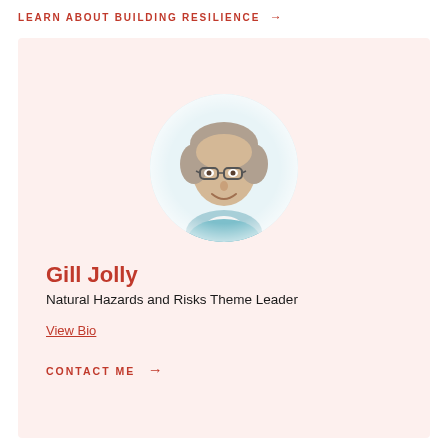LEARN ABOUT BUILDING RESILIENCE →
[Figure (photo): Circular cropped headshot photo of Gill Jolly, a woman with short grey-brown hair wearing glasses and a light blue top with white collar, smiling, on a white circular background within a light pink card]
Gill Jolly
Natural Hazards and Risks Theme Leader
View Bio
CONTACT ME →